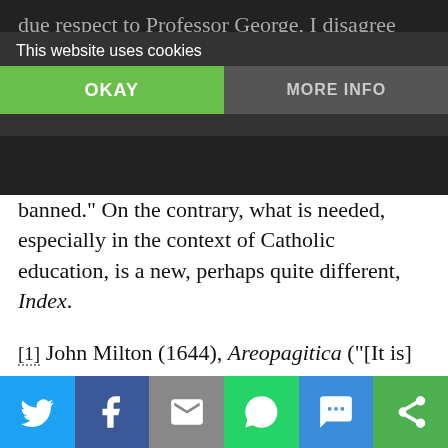This website uses cookies
due respect to Professor George, I disagree with his claim that, “The right [is that] no perspective is banned.” On the contrary, what is needed, especially in the context of Catholic education, is a new, perhaps quite different, Index.
[1] John Milton (1644), Areopagitica (“[It is] doubtless is more wholesome, more prudent, and more Christian that many be tolerated, rather than all compelled, I mean not tolerated popery, and open superstition, which as it extirpates all religions and